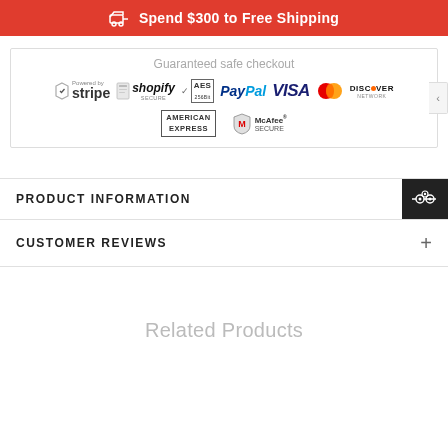Spend $300 to Free Shipping
Guaranteed safe checkout
[Figure (other): Payment badge icons: Stripe, Shopify Secure, AES 256Bit, PayPal, VISA, MasterCard, Discover Network, American Express, McAfee Secure]
PRODUCT INFORMATION
CUSTOMER REVIEWS
Related Products